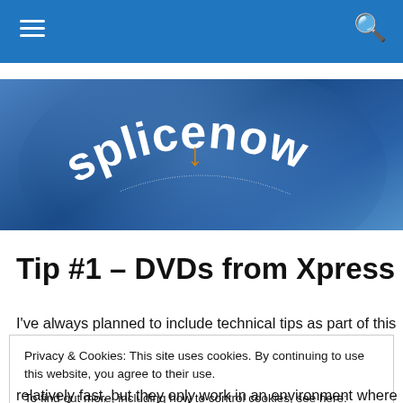Navigation bar with hamburger menu and search icon
[Figure (logo): splicenow logo on blue banner background with curved text and orange arrow]
Tip #1 – DVDs from Xpress Pro
I've always planned to include technical tips as part of this
Privacy & Cookies: This site uses cookies. By continuing to use this website, you agree to their use. To find out more, including how to control cookies, see here: Cookie Policy
relatively fast, but they only work in an environment where